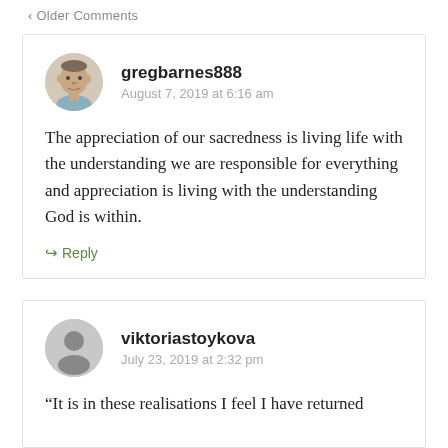< Older Comments
gregbarnes888
August 7, 2019 at 6:16 am
The appreciation of our sacredness is living life with the understanding we are responsible for everything and appreciation is living with the understanding God is within.
Reply
viktoriastoykova
July 23, 2019 at 2:32 pm
“It is in these realisations I feel I have returned